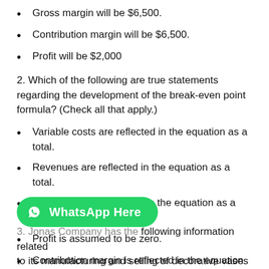Gross margin will be $6,500.
Contribution margin will be $6,500.
Profit will be $2,000
2. Which of the following are true statements regarding the development of the break-even point formula? (Check all that apply.)
Variable costs are reflected in the equation as a total.
Revenues are reflected in the equation as a total.
Fixed costs are reflected in the equation as a total.
Profit is assumed to be zero.
Contribution margin is reflected in the equation on a per-unit basis.
3. Jonas Company has the following information related to its manufacturing and selling of decorative vases